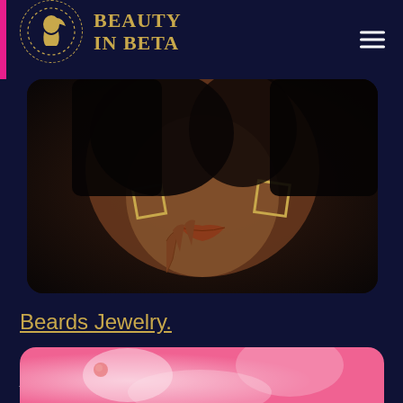BEAUTY IN BETA
[Figure (photo): Close-up photo of a dark-skinned woman wearing gold geometric earrings, hand posed near her chin, dark background]
Beards Jewelry.
Since 1981, Beard's Jewelry has been Jacksonville's premier jeweler, offering the largest selection of GIA certified diamond jewelry: engagement rings …
[Figure (photo): Bottom portion of a pink bokeh jewelry photo, partially visible at the bottom of the page]